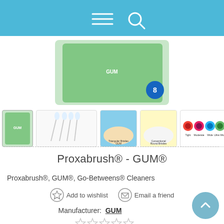Navigation bar with menu and search icons
[Figure (photo): Product image of GUM Proxabrush Go-Betweens Cleaners package (green) and thumbnail gallery showing brushes, comparison images, and size guide]
Proxabrush® - GUM®
Proxabrush®, GUM®, Go-Betweens® Cleaners
Add to wishlist   Email a friend
Manufacturer:  GUM
[Figure (other): Five empty star rating icons]